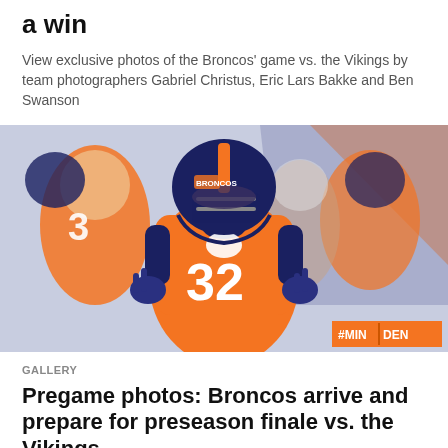a win
View exclusive photos of the Broncos' game vs. the Vikings by team photographers Gabriel Christus, Eric Lars Bakke and Ben Swanson
[Figure (photo): Denver Broncos player wearing jersey number 32 in orange and navy uniform, making hand gestures before game, with teammates visible in background and a #MINDEN hashtag overlay in bottom right corner]
GALLERY
Pregame photos: Broncos arrive and prepare for preseason finale vs. the Vikings